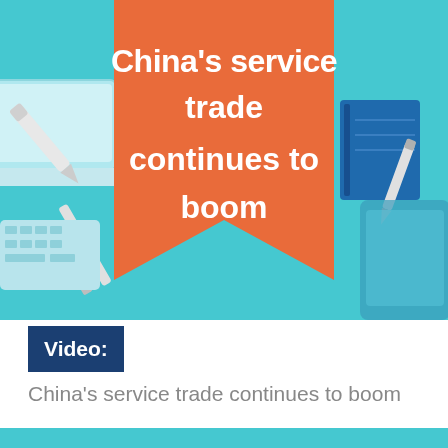[Figure (illustration): Thumbnail image with teal background showing a large orange bookmark/ribbon shape with white bold text reading 'China's service trade continues to boom'. Decorative items including a keyboard, tablet/laptop on the left and a pen/stylus with blue book on the right.]
Video: China's service trade continues to boom